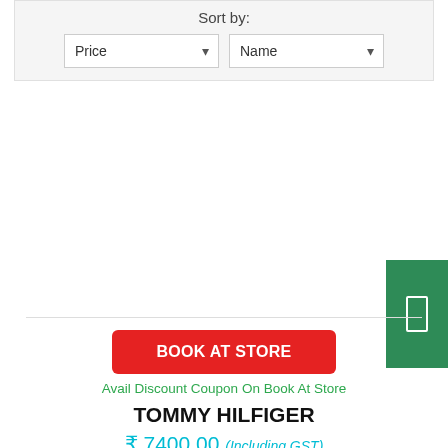Sort by:
[Figure (screenshot): Two dropdown selectors labeled 'Price' and 'Name' for sorting]
[Figure (other): Green floating button with white smartphone/bookmark icon on the right edge]
BOOK AT STORE
Avail Discount Coupon On Book At Store
TOMMY HILFIGER
₹ 7400.00 (Including GST)
SIZE : M